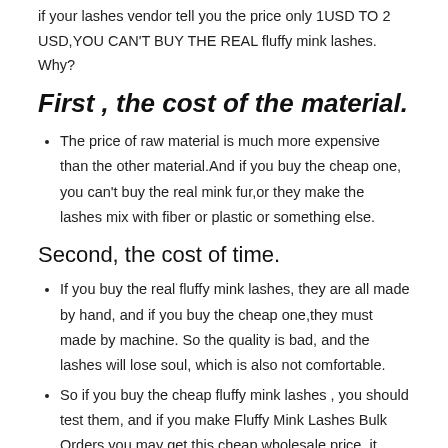if your lashes vendor tell you the price only 1USD TO 2 USD,YOU CAN'T BUY THE REAL fluffy mink lashes. Why?
First , the cost of the material.
The price of raw material is much more expensive than the other material.And if you buy the cheap one, you can't buy the real mink fur,or they make the lashes mix with fiber or plastic or something else.
Second, the cost of time.
If you buy the real fluffy mink lashes, they are all made by hand, and if you buy the cheap one,they must made by machine. So the quality is bad, and the lashes will lose soul, which is also not comfortable.
So if you buy the cheap fluffy mink lashes , you should test them, and if you make Fluffy Mink Lashes Bulk Orders,you may get this cheap wholesale price, it depends.